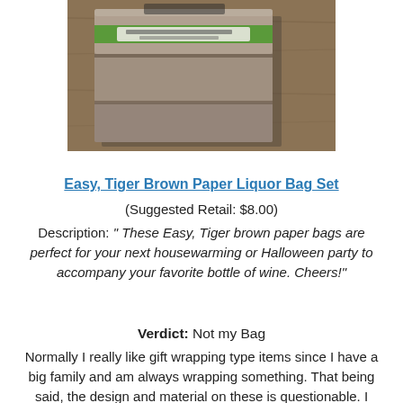[Figure (photo): Photo of Easy Tiger Brown Paper Liquor Bag Set on a wooden surface, showing green-labeled paper bags]
Easy, Tiger Brown Paper Liquor Bag Set
(Suggested Retail: $8.00)
Description: " These Easy, Tiger brown paper bags are perfect for your next housewarming or Halloween party to accompany your favorite bottle of wine. Cheers!"
Verdict: Not my Bag
Normally I really like gift wrapping type items since I have a big family and am always wrapping something. That being said, the design and material on these is questionable. I guess I'm not hipster enough to understand $8 paper bags to drink booze from. And